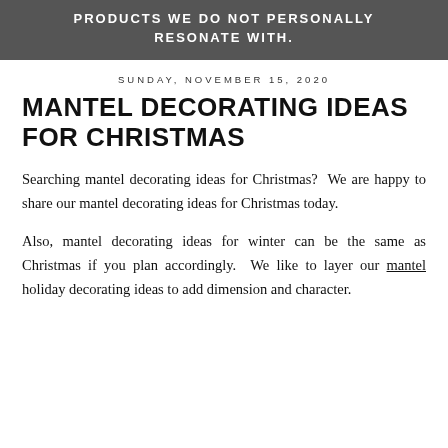PRODUCTS WE DO NOT PERSONALLY RESONATE WITH.
SUNDAY, NOVEMBER 15, 2020
MANTEL DECORATING IDEAS FOR CHRISTMAS
Searching mantel decorating ideas for Christmas? We are happy to share our mantel decorating ideas for Christmas today.
Also, mantel decorating ideas for winter can be the same as Christmas if you plan accordingly. We like to layer our mantel holiday decorating ideas to add dimension and character.